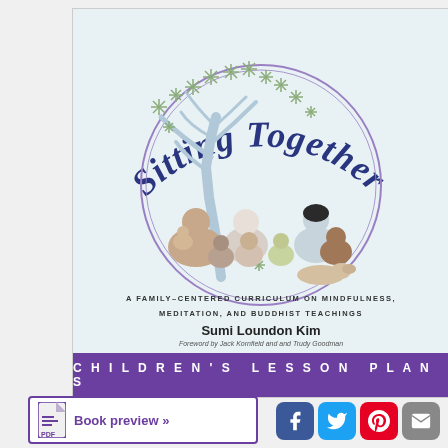[Figure (illustration): Book cover of 'Sitting Together' showing a light blue cover with a circular illustration of diverse children and adults sitting under a tree in meditation, surrounded by leaf motifs. Title in curved text at top reads 'Sitting Together'. A purple banner at bottom reads 'CHILDREN'S LESSON PLANS'.]
Sitting Together
A FAMILY-CENTERED CURRICULUM ON MINDFULNESS, MEDITATION, AND BUDDHIST TEACHINGS
Sumi Loundon Kim
Foreword by Jack Kornfield and and Trudy Goodman
CHILDREN'S LESSON PLANS
Book preview »